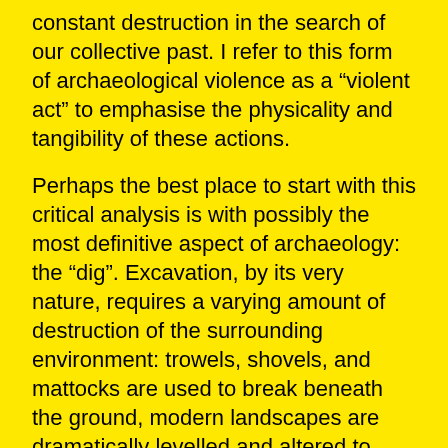constant destruction in the search of our collective past. I refer to this form of archaeological violence as a “violent act” to emphasise the physicality and tangibility of these actions.
Perhaps the best place to start with this critical analysis is with possibly the most definitive aspect of archaeology: the “dig”. Excavation, by its very nature, requires a varying amount of destruction of the surrounding environment: trowels, shovels, and mattocks are used to break beneath the ground, modern landscapes are dramatically levelled and altered to force the past out from its undisturbed slumber, and remains (both material and otherwise) are often ripped from their final resting places for further analysis and curation. Earlier approaches to excavation could often take the concept of “destruction” to another level, like Heinrich Schliemann’s infamously careless use of explosives during his excavation at Hisarlik (Allen 1999: 146).
In some cases, archaeological destruction…